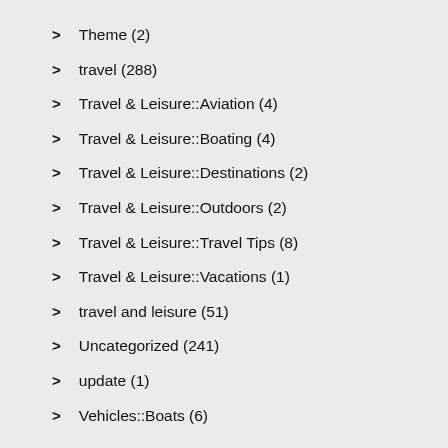Theme (2)
travel (288)
Travel & Leisure::Aviation (4)
Travel & Leisure::Boating (4)
Travel & Leisure::Destinations (2)
Travel & Leisure::Outdoors (2)
Travel & Leisure::Travel Tips (8)
Travel & Leisure::Vacations (1)
travel and leisure (51)
Uncategorized (241)
update (1)
Vehicles::Boats (6)